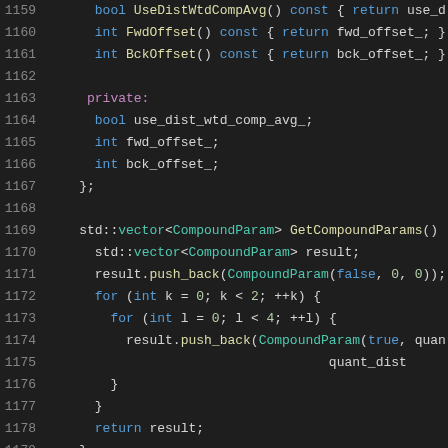[Figure (screenshot): Source code snippet in dark theme editor showing C++ code lines 1159-1179 with syntax highlighting. Lines include class member functions UseDistWtdCompAvg, FwdOffset, BckOffset, private member variables, and GetCompoundParams function with push_back calls and nested for loops.]